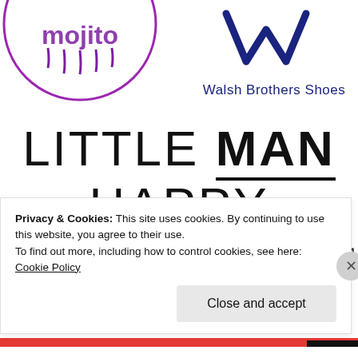[Figure (logo): Partial circular logo with purple text/drip design, top left]
[Figure (logo): Walsh Brothers Shoes logo with dark blue stylized W lettermark and text 'Walsh Brothers Shoes']
[Figure (logo): LITTLE MAN HAPPY logo in large black uppercase letters, 'MAN' underlined]
[Figure (logo): Tah-da little baby logo with cartoon baby illustration and stylized text]
Privacy & Cookies: This site uses cookies. By continuing to use this website, you agree to their use.
To find out more, including how to control cookies, see here: Cookie Policy
Close and accept